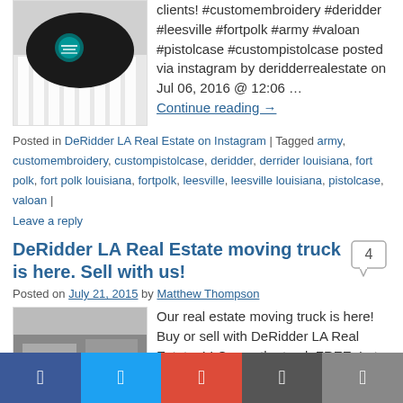[Figure (photo): Photo of a black embroidered item with a logo, placed on a white surface]
clients! #customembroidery #deridder #leesville #fortpolk #army #valoan #pistolcase #custompistolcase posted via instagram by deridderrealestate on Jul 06, 2016 @ 12:06 …
Continue reading →
Posted in DeRidder LA Real Estate on Instagram | Tagged army, customembroidery, custompistolcase, deridder, derrider louisiana, fort polk, fort polk louisiana, fortpolk, leesville, leesville louisiana, pistolcase, valoan | Leave a reply
DeRidder LA Real Estate moving truck is here. Sell with us!
Posted on July 21, 2015 by Matthew Thompson
[Figure (photo): Partially visible image, appears to be a moving truck or real estate related photo]
Our real estate moving truck is here! Buy or sell with DeRidder LA Real Estate, LLC, use the truck FREE. Let us help you with your